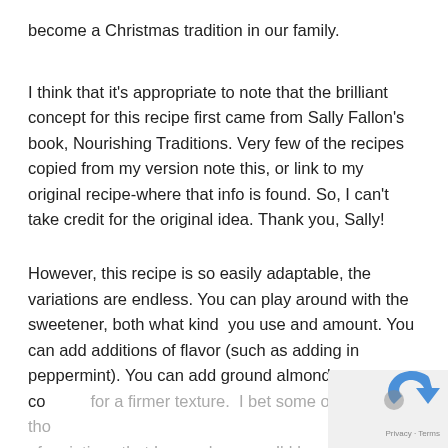become a Christmas tradition in our family.
I think that it's appropriate to note that the brilliant concept for this recipe first came from Sally Fallon's book, Nourishing Traditions. Very few of the recipes copied from my version note this, or link to my original recipe-where that info is found. So, I can't take credit for the original idea. Thank you, Sally!
However, this recipe is so easily adaptable, the variations are endless. You can play around with the sweetener, both what kind  you use and amount. You can add additions of flavor (such as adding in peppermint). You can add ground almonds or co[conut] for a firmer texture.  I bet some of you have thou[ght] of variations that I never have, so I'd love hear from